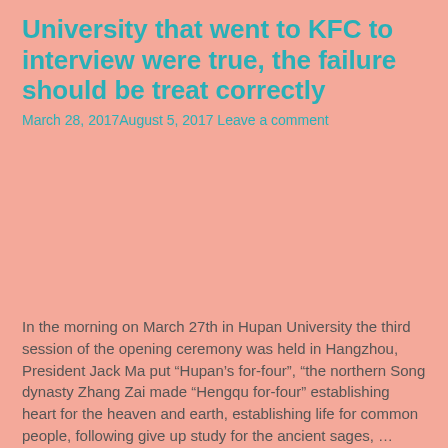University that went to KFC to interview were true, the failure should be treat correctly
March 28, 2017August 5, 2017 Leave a comment
In the morning on March 27th in Hupan University the third session of the opening ceremony was held in Hangzhou, President Jack Ma put “Hupan’s for-four”, “the northern Song dynasty Zhang Zai made “Hengqu for-four” establishing heart for the heaven and earth, establishing life for common people, following give up study for the ancient sages,  …
Jack Ma was elected for “Fortune” Magazine 50